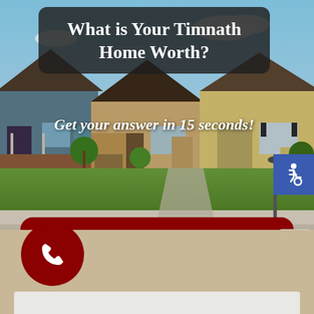[Figure (photo): Suburban neighborhood street with multiple two-story homes, green lawns, and a road in the foreground]
What is Your Timnath Home Worth?
Get your answer in 15 seconds!
Find Out Now!
[Figure (illustration): Red circle with white phone handset icon]